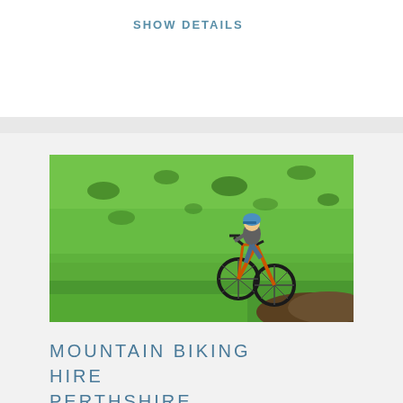SHOW DETAILS
[Figure (photo): Mountain biker performing a jump over a grassy hillside, wearing a blue helmet and riding an orange bike, green grass background]
MOUNTAIN BIKING HIRE PERTHSHIRE
A 2 hour racing treat in the mountain